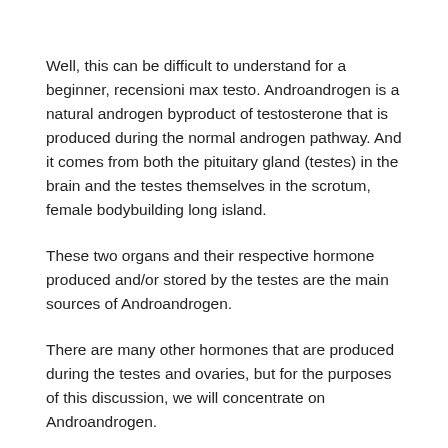Well, this can be difficult to understand for a beginner, recensioni max testo. Androandrogen is a natural androgen byproduct of testosterone that is produced during the normal androgen pathway. And it comes from both the pituitary gland (testes) in the brain and the testes themselves in the scrotum, female bodybuilding long island.
These two organs and their respective hormone produced and/or stored by the testes are the main sources of Androandrogen.
There are many other hormones that are produced during the testes and ovaries, but for the purposes of this discussion, we will concentrate on Androandrogen.